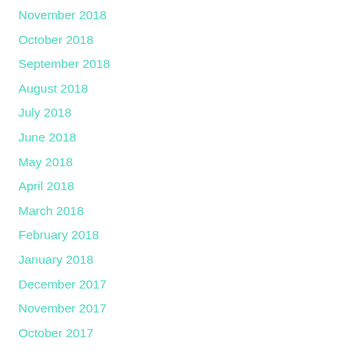November 2018
October 2018
September 2018
August 2018
July 2018
June 2018
May 2018
April 2018
March 2018
February 2018
January 2018
December 2017
November 2017
October 2017